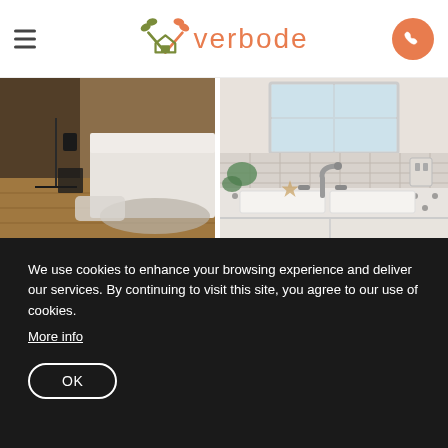Overbode navigation header with hamburger menu, logo, and phone button
[Figure (photo): Bedroom corner with hardwood floor, metal-frame table, black candle holder, and white bed frame]
[Figure (photo): Kitchen sink area with white cabinets, double basin sink, chrome faucet, tile backsplash, and geometric tile countertop]
We use cookies to enhance your browsing experience and deliver our services. By continuing to visit this site, you agree to our use of cookies.
More info
OK